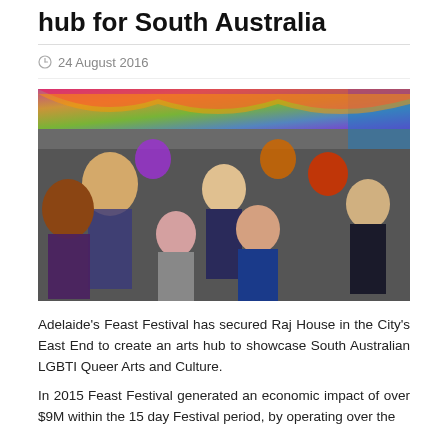hub for South Australia
24 August 2016
[Figure (photo): Group photo of people in colorful costumes including drag performers, a belly dancer, and formally dressed officials at what appears to be a Feast Festival event with rainbow decorations in the background.]
Adelaide's Feast Festival has secured Raj House in the City's East End to create an arts hub to showcase South Australian LGBTI Queer Arts and Culture.
In 2015 Feast Festival generated an economic impact of over $9M within the 15 day Festival period, by operating over the